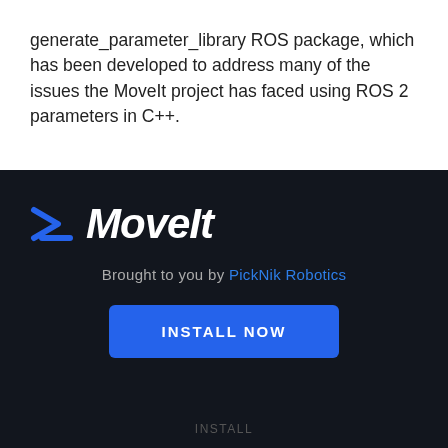generate_parameter_library ROS package, which has been developed to address many of the issues the MoveIt project has faced using ROS 2 parameters in C++.
[Figure (logo): MoveIt logo with blue chevron/arrow icon and white italic bold text 'MoveIt' on dark background]
Brought to you by PickNik Robotics
INSTALL NOW
INSTALL